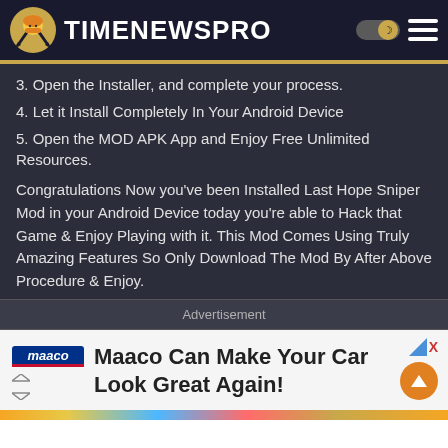TIMENEWSPRO
3. Open the Installer, and complete your process.
4. Let it Install Completely In Your Android Device
5. Open the MOD APK App and Enjoy Free Unlimited Resources.
Congratulations Now you've been Installed Last Hope Sniper Mod in your Android Device today you're able to Hack that Game & Enjoy Playing with it. This Mod Comes Using Truly Amazing Features So Only Download The Mod By After Above Procedure & Enjoy.
Advertisement
[Figure (screenshot): Advertisement banner: Maaco Can Make Your Car Look Great Again! with Maaco logo on left side.]